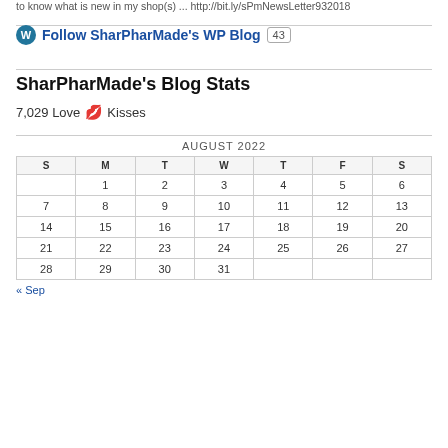to know what is new in my shop(s) ... http://bit.ly/sPmNewsLetter932018
Follow SharPharMade's WP Blog  43
SharPharMade's Blog Stats
7,029 Love 💋 Kisses
| S | M | T | W | T | F | S |
| --- | --- | --- | --- | --- | --- | --- |
|  | 1 | 2 | 3 | 4 | 5 | 6 |
| 7 | 8 | 9 | 10 | 11 | 12 | 13 |
| 14 | 15 | 16 | 17 | 18 | 19 | 20 |
| 21 | 22 | 23 | 24 | 25 | 26 | 27 |
| 28 | 29 | 30 | 31 |  |  |  |
« Sep